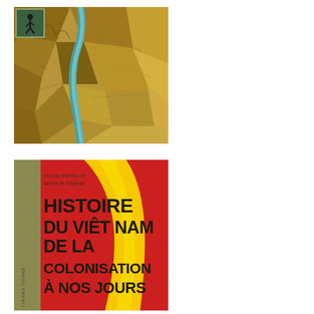[Figure (photo): Aerial photograph of a river winding through rice fields and karst landscape, with a small inset image in the top-left corner showing a person walking.]
[Figure (photo): Book cover for 'Histoire du Viêt Nam de la Colonisation à nos Jours' with red, yellow, and olive-green background design. Text reads 'sous la direction de Benoît de Tréglodé' at top. Bold black title text. 'LIBRES COURS' text on left spine area.]